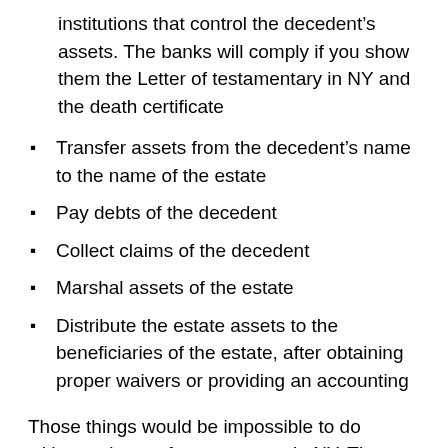institutions that control the decedent's assets. The banks will comply if you show them the Letter of testamentary in NY and the death certificate
Transfer assets from the decedent's name to the name of the estate
Pay debts of the decedent
Collect claims of the decedent
Marshal assets of the estate
Distribute the estate assets to the beneficiaries of the estate, after obtaining proper waivers or providing an accounting
Those things would be impossible to do without a letter of testamentary in NY. The banks will not give you information and will not transfer the assets, the